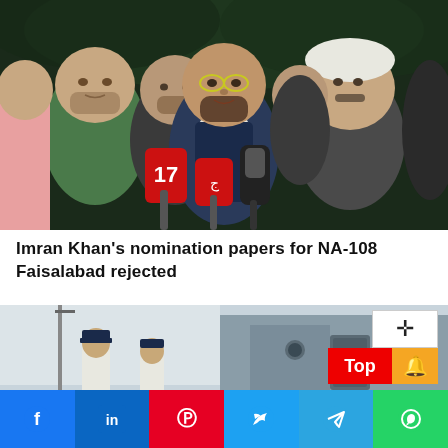[Figure (photo): News photo showing several men at a press conference, with the central figure speaking into multiple microphones including one labeled '17' and a red microphone, in a dark outdoor setting.]
Imran Khan's nomination papers for NA-108 Faisalabad rejected
[Figure (photo): Photo of naval officers in white uniforms standing near a naval vessel or dock facility.]
Social share bar with Facebook, LinkedIn, Pinterest, Twitter, Telegram, WhatsApp buttons